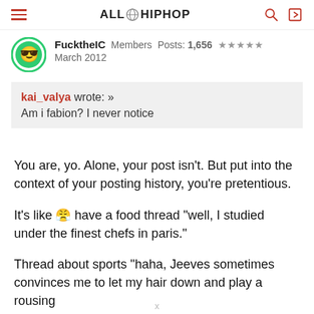ALLHIPHOP
FucktheIC  Members  Posts: 1,656  ★★★★★
March 2012
kai_valya wrote: »
Am i fabion? I never notice
You are, yo. Alone, your post isn't. But put into the context of your posting history, you're pretentious. It's like [emoji] have a food thread "well, I studied under the finest chefs in paris."
Thread about sports "haha, Jeeves sometimes convinces me to let my hair down and play a rousing game of ..."